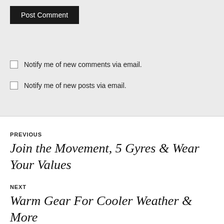Post Comment
Notify me of new comments via email.
Notify me of new posts via email.
PREVIOUS
Join the Movement, 5 Gyres & Wear Your Values
NEXT
Warm Gear For Cooler Weather & More